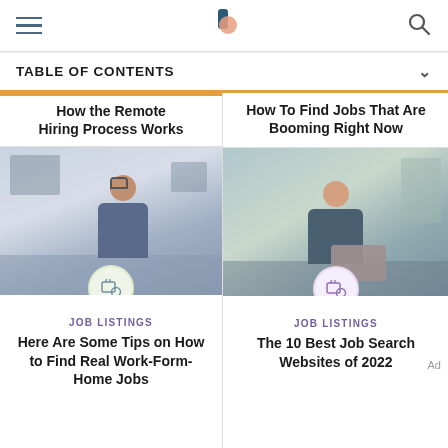Navigation header with hamburger menu, logo, and search icon
TABLE OF CONTENTS
How the Remote Hiring Process Works
[Figure (photo): Woman with headset working from home at a computer]
JOB LISTINGS
Here Are Some Tips on How to Find Real Work-Form-Home Jobs
How To Find Jobs That Are Booming Right Now
[Figure (photo): Woman in denim jacket working on laptop at home]
JOB LISTINGS
The 10 Best Job Search Websites of 2022